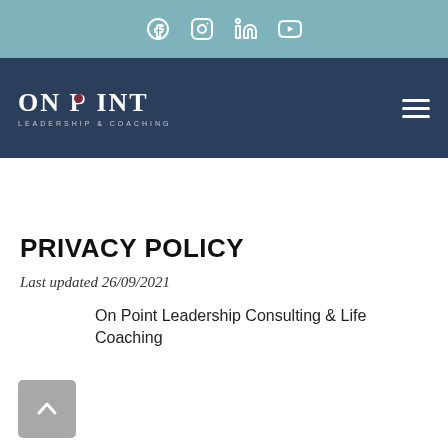[Figure (other): Social media icon bar with Facebook, Instagram, LinkedIn, and YouTube icons on a teal/steel blue background]
[Figure (logo): On Point Leadership & Coaching logo on dark navy blue navigation bar with hamburger menu icon]
PRIVACY POLICY
Last updated 26/09/2021
On Point Leadership Consulting & Life Coaching